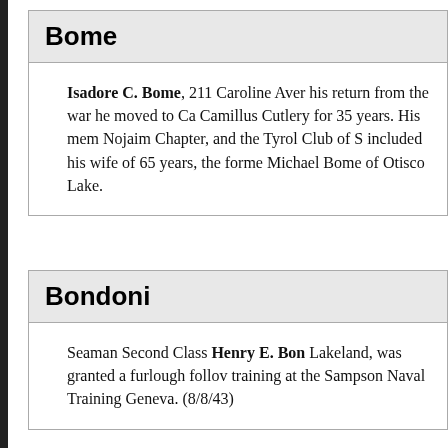Bome
Isadore C. Bome, 211 Caroline Aven... his return from the war he moved to Ca... Camillus Cutlery for 35 years. His mem... Nojaim Chapter, and the Tyrol Club of S... included his wife of 65 years, the forme... Michael Bome of Otisco Lake.
Bondoni
Seaman Second Class Henry E. Bon... Lakeland, was granted a furlough follov... training at the Sampson Naval Training ... Geneva. (8/8/43)